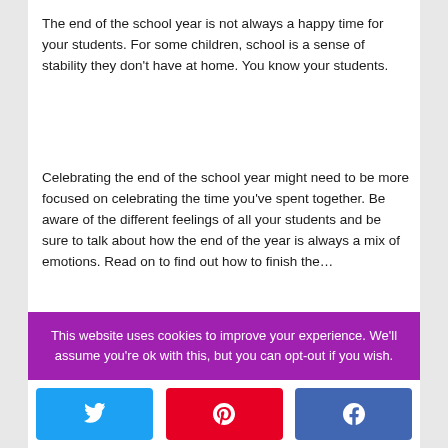The end of the school year is not always a happy time for your students. For some children, school is a sense of stability they don't have at home. You know your students.
Celebrating the end of the school year might need to be more focused on celebrating the time you've spent together. Be aware of the different feelings of all your students and be sure to talk about how the end of the year is always a mix of emotions. Read on to find out how to finish the…
This website uses cookies to improve your experience. We'll assume you're ok with this, but you can opt-out if you wish.